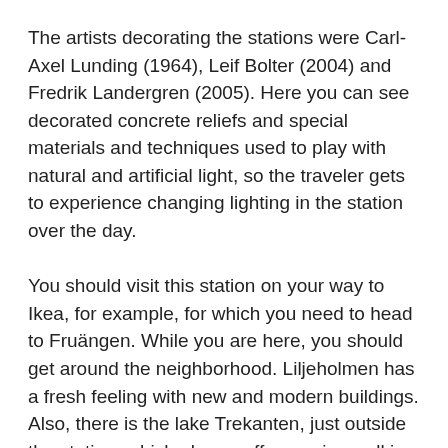The artists decorating the stations were Carl-Axel Lunding (1964), Leif Bolter (2004) and Fredrik Landergren (2005). Here you can see decorated concrete reliefs and special materials and techniques used to play with natural and artificial light, so the traveler gets to experience changing lighting in the station over the day.
You should visit this station on your way to Ikea, for example, for which you need to head to Fruängen. While you are here, you should get around the neighborhood. Liljeholmen has a fresh feeling with new and modern buildings. Also, there is the lake Trekanten, just outside the station, which always offers a nice walking environment. Almost 30.000 people come by here daily.
Follow our updates on the project's Facebook page (Stockholm Subway StoRy) and check out our blog every Sunday for a new post regarding the